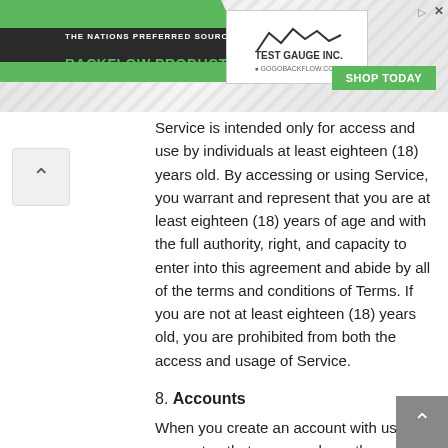[Figure (screenshot): Advertisement banner for Test Gauge Inc. backflow products and services with green design elements, company logo, and Shop Today button]
Service is intended only for access and use by individuals at least eighteen (18) years old. By accessing or using Service, you warrant and represent that you are at least eighteen (18) years of age and with the full authority, right, and capacity to enter into this agreement and abide by all of the terms and conditions of Terms. If you are not at least eighteen (18) years old, you are prohibited from both the access and usage of Service.
8. Accounts
When you create an account with us, you guarantee that you are above the age of 18, and that the information you provide us is accurate, complete, and current at all times